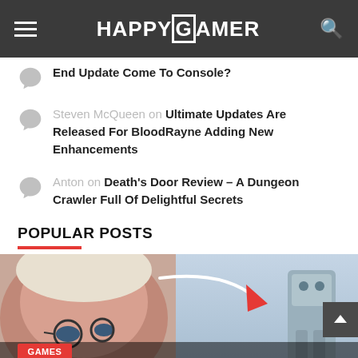HAPPYGAMER
End Update Come To Console?
Steven McQueen on Ultimate Updates Are Released For BloodRayne Adding New Enhancements
Anton on Death's Door Review – A Dungeon Crawler Full Of Delightful Secrets
POPULAR POSTS
[Figure (photo): Gaming thumbnail image showing an animated character face on the left and a robot figure on the right with a large red arrow pointing right. GAMES badge and partial article title visible.]
Users Of MultiVersus Believe That